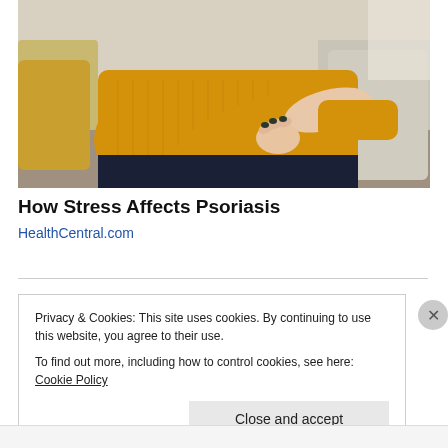[Figure (photo): Woman in yellow knit sweater sitting on a couch scratching or holding her arm/wrist, suggesting skin irritation. Beige and grey pillows visible in background.]
How Stress Affects Psoriasis
HealthCentral.com
Privacy & Cookies: This site uses cookies. By continuing to use this website, you agree to their use.
To find out more, including how to control cookies, see here: Cookie Policy
Close and accept